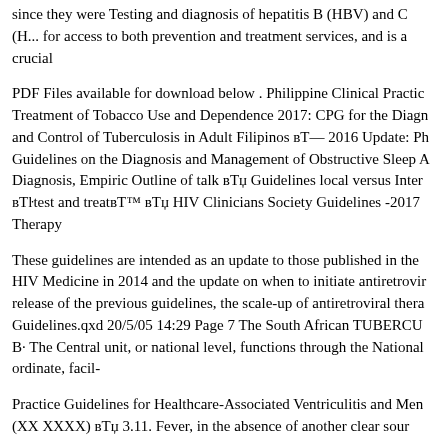since they were Testing and diagnosis of hepatitis B (HBV) and C (H... for access to both prevention and treatment services, and is a crucial
PDF Files available for download below . Philippine Clinical Practice Treatment of Tobacco Use and Dependence 2017: CPG for the Diagn and Control of Tuberculosis in Adult Filipinos вЂ" 2016 Update: Ph Guidelines on the Diagnosis and Management of Obstructive Sleep A Diagnosis, Empiric Outline of talk вЂ¥ Guidelines local versus Inter вЂ‌test and treatвЂ™ вЂ¥ HIV Clinicians Society Guidelines -2017 Therapy
These guidelines are intended as an update to those published in the HIV Medicine in 2014 and the update on when to initiate antiretrovir release of the previous guidelines, the scale-up of antiretroviral thera Guidelines.qxd 20/5/05 14:29 Page 7 The South African TUBERCU B· The Central unit, or national level, functions through the National ordinate, facil-
Practice Guidelines for Healthcare-Associated Ventriculitis and Men (XX XXXX) вЂ¥ 3.11. Fever, in the absence of another clear sour